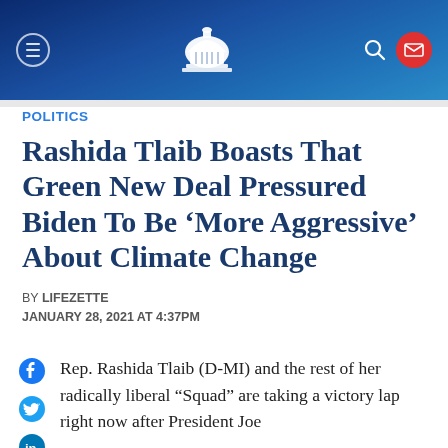LifeZette navigation header with menu, logo, search and mail icons
POLITICS
Rashida Tlaib Boasts That Green New Deal Pressured Biden To Be ‘More Aggressive’ About Climate Change
BY LIFEZETTE
JANUARY 28, 2021 AT 4:37PM
Rep. Rashida Tlaib (D-MI) and the rest of her radically liberal “Squad” are taking a victory lap right now after President Joe